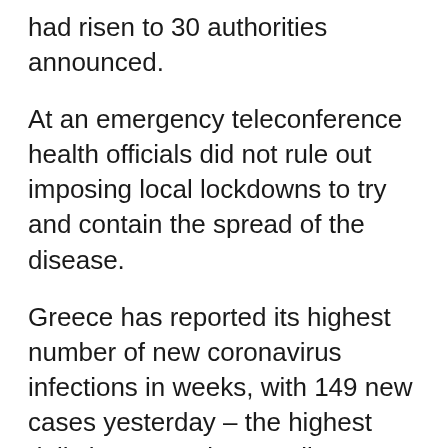had risen to 30 authorities announced.
At an emergency teleconference health officials did not rule out imposing local lockdowns to try and contain the spread of the disease.
Greece has reported its highest number of new coronavirus infections in weeks, with 149 new cases yesterday – the highest daily increase since April 26.
Yet Brits are still heading for a Greek holiday, as easyJet claims flights are soaring to the country after the Spain travel ban.
EasyJet and Ryanair both fly to Mykonos and are offering bargain flight packages into the